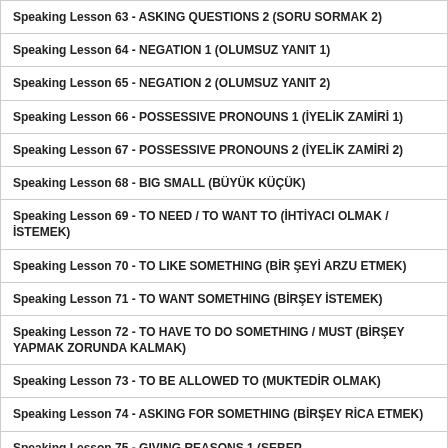Speaking Lesson 63 - ASKING QUESTIONS 2 (SORU SORMAK 2)
Speaking Lesson 64 - NEGATION 1 (OLUMSUZ YANIT 1)
Speaking Lesson 65 - NEGATION 2 (OLUMSUZ YANIT 2)
Speaking Lesson 66 - POSSESSIVE PRONOUNS 1 (İYELİK ZAMİRİ 1)
Speaking Lesson 67 - POSSESSIVE PRONOUNS 2 (İYELİK ZAMİRİ 2)
Speaking Lesson 68 - BIG SMALL (BÜYÜK KÜÇÜK)
Speaking Lesson 69 - TO NEED / TO WANT TO (İHTİYACI OLMAK / İSTEMEK)
Speaking Lesson 70 - TO LIKE SOMETHING (BİR ŞEYİ ARZU ETMEK)
Speaking Lesson 71 - TO WANT SOMETHING (BİRŞEY İSTEMEK)
Speaking Lesson 72 - TO HAVE TO DO SOMETHING / MUST (BİRŞEY YAPMAK ZORUNDA KALMAK)
Speaking Lesson 73 - TO BE ALLOWED TO (MUKTEDİR OLMAK)
Speaking Lesson 74 - ASKING FOR SOMETHING (BİRŞEY RİCA ETMEK)
Speaking Lesson 75 - GIVING REASONS 1 (SEBEP ...